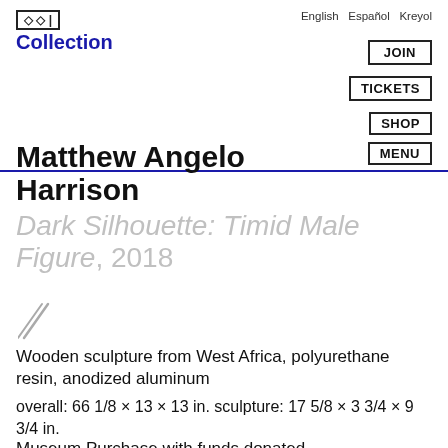Collection | English Español Kreyol | JOIN | TICKETS | SHOP | MENU
Matthew Angelo Harrison
Dark Silhouette: Timid Male Figure, 2018
Wooden sculpture from West Africa, polyurethane resin, anodized aluminum
overall: 66 1/8 × 13 × 13 in. sculpture: 17 5/8 × 3 3/4 × 9 3/4 in.
Museum Purchase with funds donated